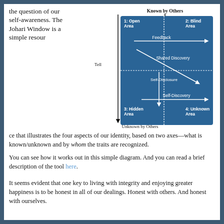the question of our self-awareness. The Johari Window is a simple resource that illustrates the four aspects of our identity, based on two axes—what is known/unknown and by whom the traits are recognized.
[Figure (infographic): Johari Window diagram showing a 2x2 grid with four quadrants: 1: Open Area (top-left), 2: Blind Area (top-right), 3: Hidden Area (bottom-left), 4: Unknown Area (bottom-right). Axes labeled 'Known by Others' (top) and 'Unknown by Others' (bottom) vertically, and 'Tell' on the left axis. Arrows inside show Feedback (horizontal right), Shared Discovery (diagonal), Self-Disclosure (vertical down), Self-Discovery (horizontal right). Background is blue.]
You can see how it works out in this simple diagram. And you can read a brief description of the tool here.
It seems evident that one key to living with integrity and enjoying greater happiness is to be honest in all of our dealings. Honest with others. And honest with ourselves.